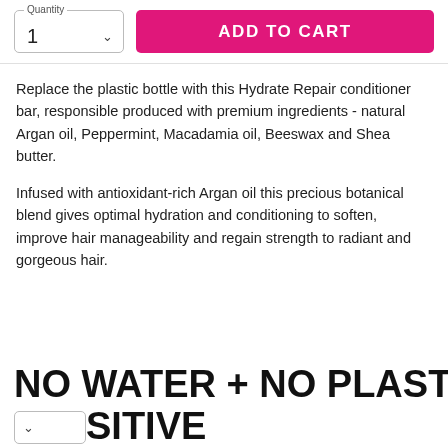[Figure (other): Quantity selector dropdown showing '1' with chevron, and a magenta 'ADD TO CART' button]
Replace the plastic bottle with this Hydrate Repair conditioner bar, responsible produced with premium ingredients - natural Argan oil, Peppermint, Macadamia oil, Beeswax and Shea butter.
Infused with antioxidant-rich Argan oil this precious botanical blend gives optimal hydration and conditioning to soften, improve hair manageability and regain strength to radiant and gorgeous hair.
NO WATER + NO PLASTIC  + PLANET POSITIVE